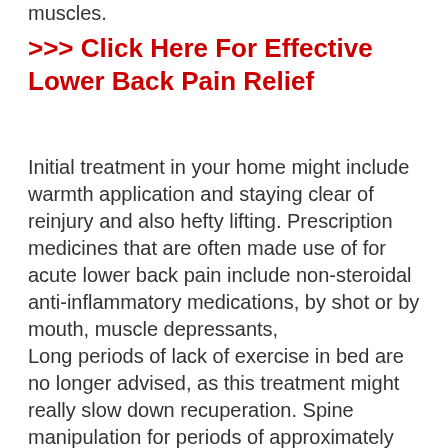muscles.
>>> Click Here For Effective Lower Back Pain Relief
Initial treatment in your home might include warmth application and staying clear of reinjury and also hefty lifting. Prescription medicines that are often made use of for acute lower back pain include non-steroidal anti-inflammatory medications, by shot or by mouth, muscle depressants,
Long periods of lack of exercise in bed are no longer advised, as this treatment might really slow down recuperation. Spine manipulation for periods of approximately one month has actually been found to be handy in some clients who do not have indicators of nerve inflammation.